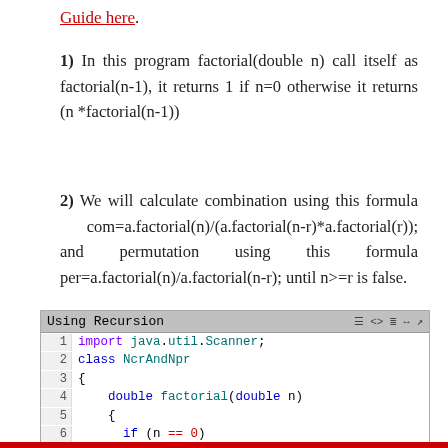Guide here.
1) In this program factorial(double n) call itself as factorial(n-1), it returns 1 if n=0 otherwise it returns (n *factorial(n-1))
2) We will calculate combination using this formula com=a.factorial(n)/(a.factorial(n-r)*a.factorial(r)); and permutation using this formula per=a.factorial(n)/a.factorial(n-r); until n>=r is false.
[Figure (screenshot): Code editor screenshot showing Java code for 'Using Recursion'. Lines 1-9 visible: import java.util.Scanner; class NcrAndNpr { double factorial(double n) { if (n == 0) return 1; else return(n * factorial(n-1)]